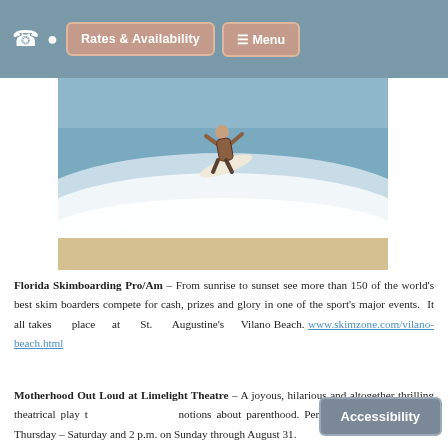Rates & Availability | Menu
[Figure (photo): A skimboarder performing a trick on a wave at a beach. The surfer is airborne above a crashing white wave with ocean water and sandy beach in the background.]
Florida Skimboarding Pro/Am – From sunrise to sunset see more than 150 of the world's best skim boarders compete for cash, prizes and glory in one of the sport's major events. It all takes place at St. Augustine's Vilano Beach. www.skimzone.com/vilano-beach.html
Motherhood Out Loud at Limelight Theatre – A joyous, hilarious and altogether thrilling theatrical play that challenges our notions about parenthood. Performance times are 7:30 p.m. Thursday – Saturday and 2 p.m. on Sunday through August 31.